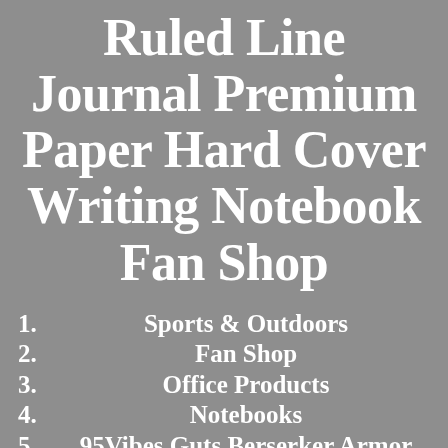Ruled Line Journal Premium Paper Hard Cover Writing Notebook Fan Shop
1. Sports & Outdoors
2. Fan Shop
3. Office Products
4. Notebooks
5. 95Vibes Guts Berserker Armor Red Moon Silhouette